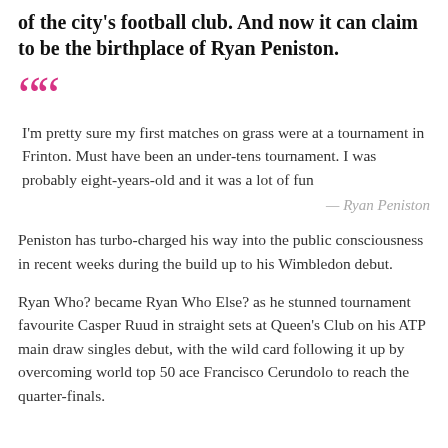of the city's football club. And now it can claim to be the birthplace of Ryan Peniston.
I'm pretty sure my first matches on grass were at a tournament in Frinton. Must have been an under-tens tournament. I was probably eight-years-old and it was a lot of fun
— Ryan Peniston
Peniston has turbo-charged his way into the public consciousness in recent weeks during the build up to his Wimbledon debut.
Ryan Who? became Ryan Who Else? as he stunned tournament favourite Casper Ruud in straight sets at Queen's Club on his ATP main draw singles debut, with the wild card following it up by overcoming world top 50 ace Francisco Cerundolo to reach the quarter-finals.